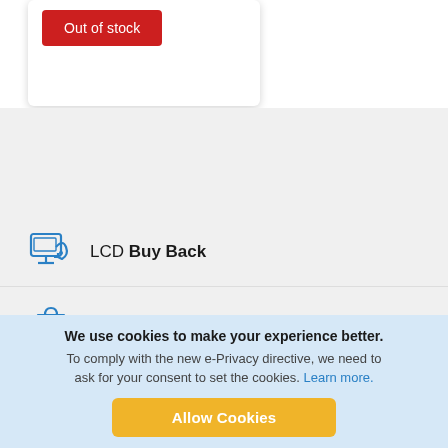[Figure (screenshot): Out of stock red button inside a white card with shadow]
LCD Buy Back
Quick Shop
We use cookies to make your experience better. To comply with the new e-Privacy directive, we need to ask for your consent to set the cookies. Learn more.
Allow Cookies